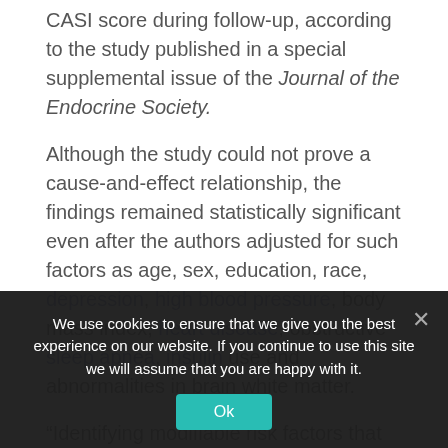CASI score during follow-up, according to the study published in a special supplemental issue of the Journal of the Endocrine Society.
Although the study could not prove a cause-and-effect relationship, the findings remained statistically significant even after the authors adjusted for such factors as age, sex, education, race, depression, high blood pressure, body mass index, heart disease, obstructive sleep apnea, insulin use and abnormalities in brain white matter.
“Identifying modifiable risk factors that are associated
We use cookies to ensure that we give you the best experience on our website. If you continue to use this site we will assume that you are happy with it.